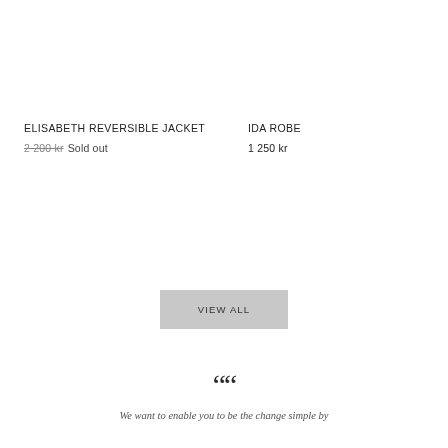ELISABETH REVERSIBLE JACKET
2 200 kr Sold out
IDA ROBE
1 250 kr
VIEW ALL
““
We want to enable you to be the change simple by